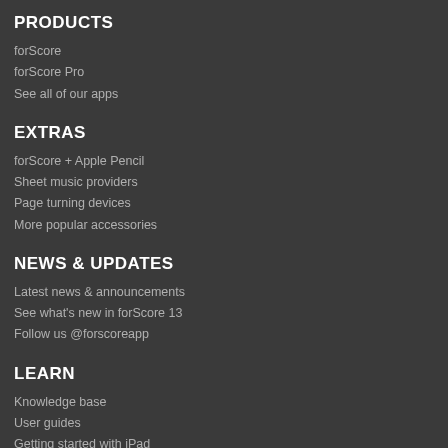PRODUCTS
forScore
forScore Pro
See all of our apps
EXTRAS
forScore + Apple Pencil
Sheet music providers
Page turning devices
More popular accessories
NEWS & UPDATES
Latest news & announcements
See what's new in forScore 13
Follow us @forscoreapp
LEARN
Knowledge base
User guides
Getting started with iPad